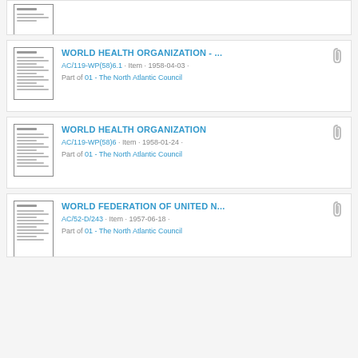(partial item at top of page — document thumbnail only visible)
WORLD HEALTH ORGANIZATION - ... | AC/119-WP(58)6.1 · Item · 1958-04-03 · Part of 01 - The North Atlantic Council
WORLD HEALTH ORGANIZATION | AC/119-WP(58)6 · Item · 1958-01-24 · Part of 01 - The North Atlantic Council
WORLD FEDERATION OF UNITED N... | AC/52-D/243 · Item · 1957-06-18 · Part of 01 - The North Atlantic Council